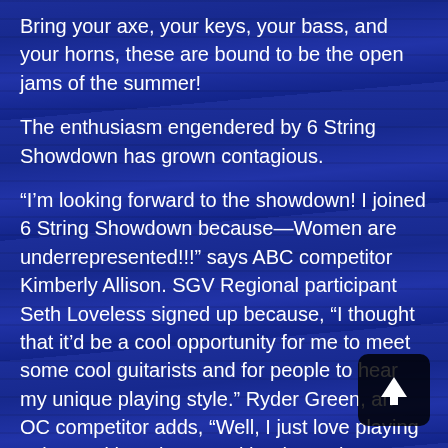Bring your axe, your keys, your bass, and your horns, these are bound to be the open jams of the summer!
The enthusiasm engendered by 6 String Showdown has grown contagious.
“I’m looking forward to the showdown! I joined 6 String Showdown because—Women are underrepresented!!!” says ABC competitor Kimberly Allison. SGV Regional participant Seth Loveless signed up because, “I thought that it’d be a cool opportunity for me to meet some cool guitarists and for people to hear my unique playing style.” Ryder Green, an OC competitor adds, “Well, I just love playing guitar and hanging out with other guitar players. I always learn things from others and really dig it when we can share ideas and help each other get better and
[Figure (illustration): A dark rounded-square scroll-to-top button with an upward-pointing arrow icon, positioned in the lower-right corner.]